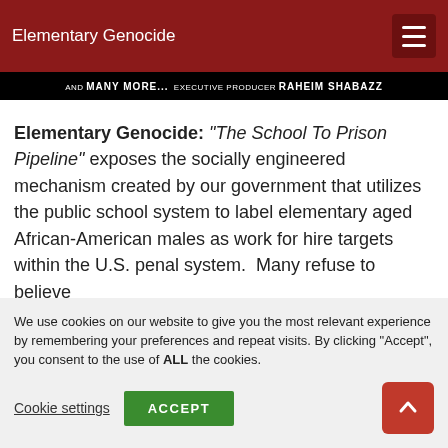Elementary Genocide
AND MANY MORE... EXECUTIVE PRODUCER RAHEIM SHABAZZ
Elementary Genocide: "The School To Prison Pipeline" exposes the socially engineered mechanism created by our government that utilizes the public school system to label elementary aged African-American males as work for hire targets within the U.S. penal system. Many refuse to believe
We use cookies on our website to give you the most relevant experience by remembering your preferences and repeat visits. By clicking “Accept”, you consent to the use of ALL the cookies.